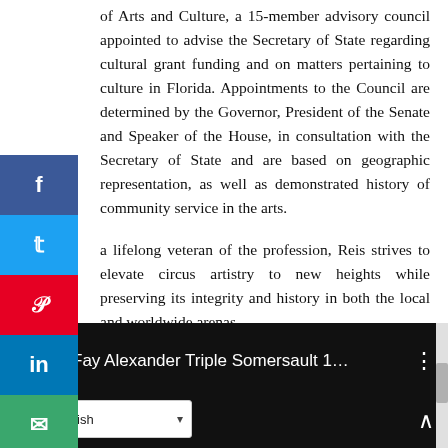of Arts and Culture, a 15-member advisory council appointed to advise the Secretary of State regarding cultural grant funding and on matters pertaining to culture in Florida. Appointments to the Council are determined by the Governor, President of the Senate and Speaker of the House, in consultation with the Secretary of State and are based on geographic representation, as well as demonstrated history of community service in the arts.
a lifelong veteran of the profession, Reis strives to elevate circus artistry to new heights while preserving its integrity and history in both the local and worldwide arenas.
Video History Summary
[Figure (screenshot): YouTube video embed showing 'Fay Alexander Triple Somersault 1...' with a gold circular logo, white text title, and a language selector showing English at the bottom]